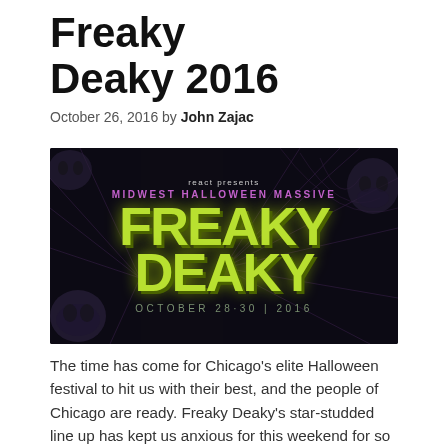Freaky Deaky 2016
October 26, 2016 by John Zajac
[Figure (photo): Event poster for Freaky Deaky 2016 – react presents MIDWEST HALLOWEEN MASSIVE with large dripping green 'FREAKY DEAKY' text, skulls on dark background, OCTOBER 28-30 | 2016]
The time has come for Chicago's elite Halloween festival to hit us with their best, and the people of Chicago are ready. Freaky Deaky's star-studded line up has kept us anxious for this weekend for so long and it is right around the corner. It seems to be that the first time Freaky Deaky was [...]